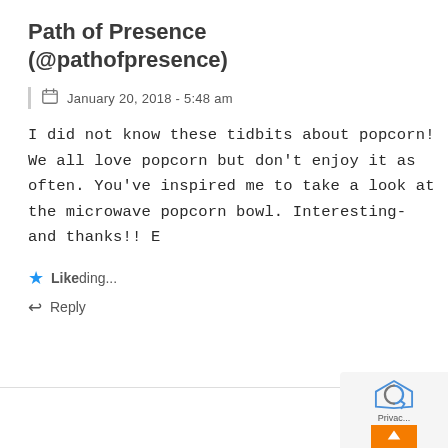Path of Presence (@pathofpresence)
January 20, 2018 - 5:48 am
I did not know these tidbits about popcorn! We all love popcorn but don't enjoy it as often. You've inspired me to take a look at the microwave popcorn bowl. Interesting- and thanks!! E
Like
Loading...
Reply
[Figure (logo): reCAPTCHA logo with Privacy & Terms text and orange scroll-to-top button]